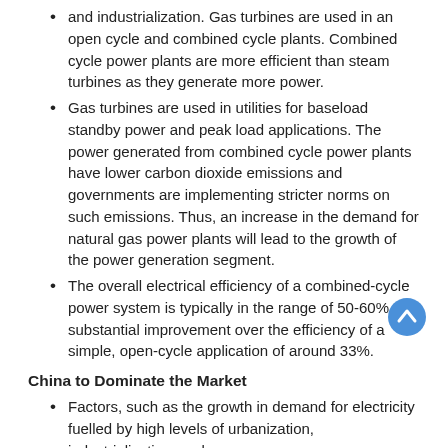and industrialization. Gas turbines are used in an open cycle and combined cycle plants. Combined cycle power plants are more efficient than steam turbines as they generate more power.
Gas turbines are used in utilities for baseload standby power and peak load applications. The power generated from combined cycle power plants have lower carbon dioxide emissions and governments are implementing stricter norms on such emissions. Thus, an increase in the demand for natural gas power plants will lead to the growth of the power generation segment.
The overall electrical efficiency of a combined-cycle power system is typically in the range of 50-60% - a substantial improvement over the efficiency of a simple, open-cycle application of around 33%.
China to Dominate the Market
Factors, such as the growth in demand for electricity fuelled by high levels of urbanization, industrialization, and